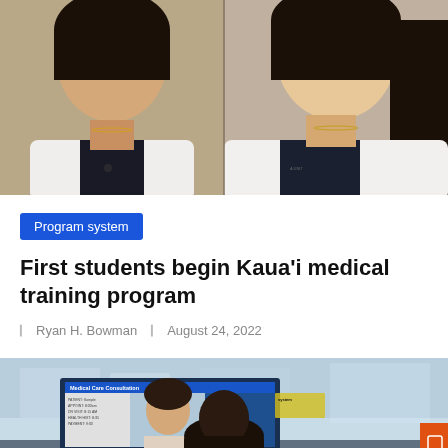[Figure (photo): Two young women in white medical coats smiling, shown from shoulders up, side by side]
Program system
First students begin Kaua’i medical training program
Ryan H. Bowman   August 24, 2022
[Figure (photo): Person viewed from behind sitting at a computer displaying a Medical Care Consultation screen interface]